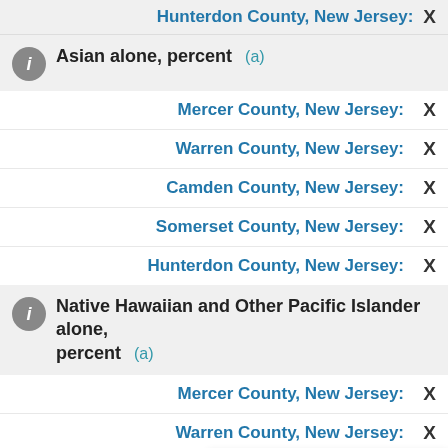Hunterdon County, New Jersey: X
Asian alone, percent (a)
Mercer County, New Jersey: X
Warren County, New Jersey: X
Camden County, New Jersey: X
Somerset County, New Jersey: X
Hunterdon County, New Jersey: X
Native Hawaiian and Other Pacific Islander alone, percent (a)
Mercer County, New Jersey: X
Warren County, New Jersey: X
Camden County, New Jersey: X
Somerset County, New Jersey: X
Hunterdon County, New Jersey: X
Is this page helpful? Yes No